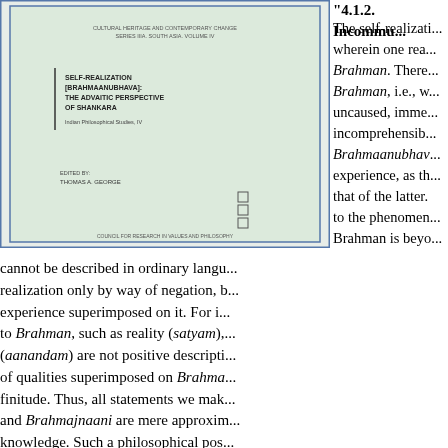"4.1.2. Incommu...
[Figure (photo): Book cover: SELF-REALIZATION [BRAHMAANUBHAVA]: THE ADVAITIC PERSPECTIVE OF SHANKARA, Indian Philosophical Studies, IV]
The self-realization wherein one rea... Brahman. There... Brahman, i.e., w... uncaused, imme... incomprehensib... Brahmaanubhav... experience, as th... that of the latter. to the phenomen... Brahman is beyo... cannot be described in ordinary langu... realization only by way of negation, b... experience superimposed on it. For i... to Brahman, such as reality (satyam),... (aanandam) are not positive descripti... of qualities superimposed on Brahma... finitude. Thus, all statements we mak... and Brahmajnaani are mere approxim... knowledge. Such a philosophical pos... practical purposes, incommunicable. and indescribable, it cannot be comm... one in the realm of phenomenal exist...